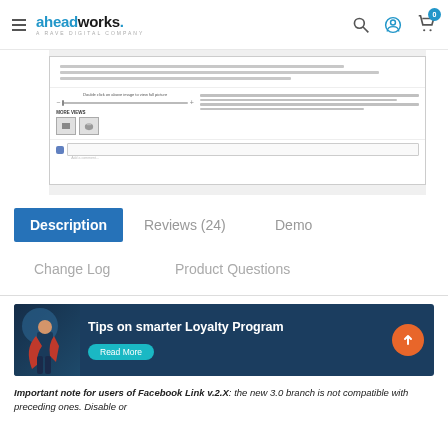aheadworks. A RAVE DIGITAL COMPANY
[Figure (screenshot): Screenshot of a product page showing an image zoom widget with slider, more views thumbnails, and a Facebook comment box]
Description
Reviews (24)
Demo
Change Log
Product Questions
[Figure (infographic): Promotional banner with superhero figure and text: Tips on smarter Loyalty Program, Read More button, and orange arrow icon]
Important note for users of Facebook Link v.2.X: the new 3.0 branch is not compatible with preceding ones. Disable or